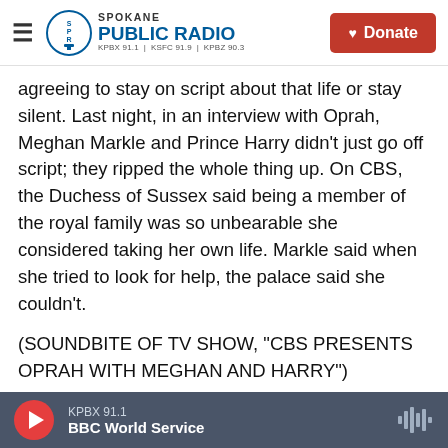Spokane Public Radio — KPBX 91.1 | KSFC 91.9 | KPBZ 90.3 — Donate
agreeing to stay on script about that life or stay silent. Last night, in an interview with Oprah, Meghan Markle and Prince Harry didn't just go off script; they ripped the whole thing up. On CBS, the Duchess of Sussex said being a member of the royal family was so unbearable she considered taking her own life. Markle said when she tried to look for help, the palace said she couldn't.
(SOUNDBITE OF TV SHOW, "CBS PRESENTS OPRAH WITH MEGHAN AND HARRY")
MEGHAN MARKLE: I went to the institution and I
KPBX 91.1 — BBC World Service